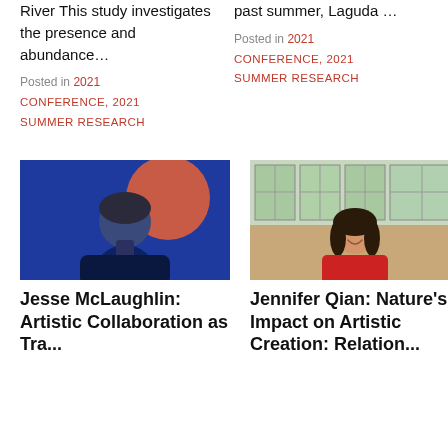River This study investigates the presence and abundance…
Posted in 2021
CONFERENCE, 2021
SUMMER RESEARCH
past summer, Laguda …
Posted in 2021
CONFERENCE, 2021
SUMMER RESEARCH
[Figure (photo): Person photographed against a blue background with a large orange circle, wearing a dark top]
[Figure (photo): Young woman smiling, wearing a red patterned top, standing in a room with large windows]
Jesse McLaughlin: Artistic Collaboration as Tra...
Jennifer Qian: Nature's Impact on Artistic Creation: Relation...